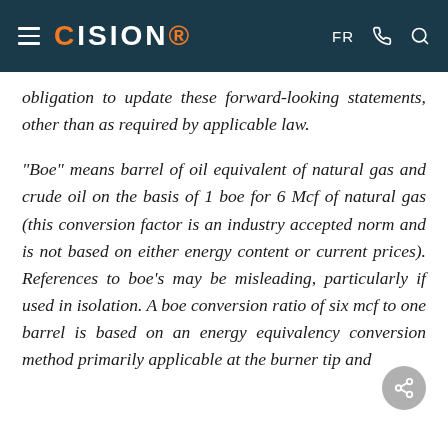CISION | FR
obligation to update these forward-looking statements, other than as required by applicable law.
"Boe" means barrel of oil equivalent of natural gas and crude oil on the basis of 1 boe for 6 Mcf of natural gas (this conversion factor is an industry accepted norm and is not based on either energy content or current prices). References to boe's may be misleading, particularly if used in isolation. A boe conversion ratio of six mcf to one barrel is based on an energy equivalency conversion method primarily applicable at the burner tip and